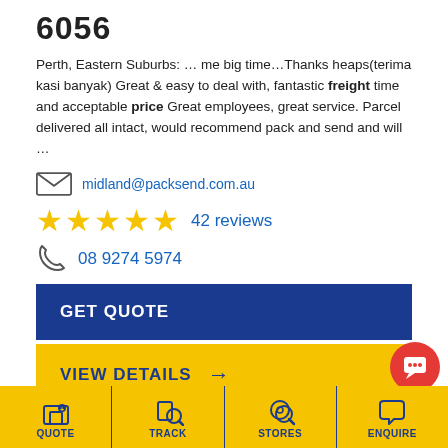6056
Perth, Eastern Suburbs: … me big time…Thanks heaps(terima kasi banyak) Great & easy to deal with, fantastic freight time and acceptable price Great employees, great service. Parcel delivered all intact, would recommend pack and send and will …
midland@packsend.com.au
42 reviews
08 9274 5974
GET QUOTE
VIEW DETAILS
PACK & SEND Bibra Lake
QUOTE  TRACK  STORES  ENQUIRE